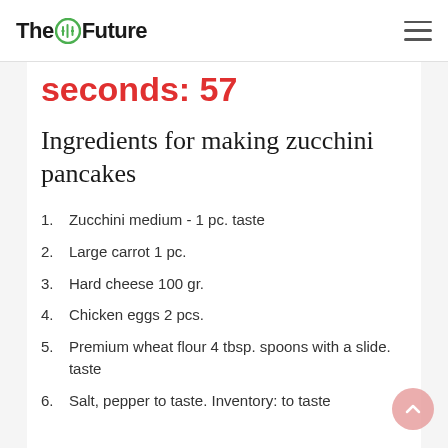The Future
seconds: 57
Ingredients for making zucchini pancakes
1. Zucchini medium - 1 pc. taste
2. Large carrot 1 pc.
3. Hard cheese 100 gr.
4. Chicken eggs 2 pcs.
5. Premium wheat flour 4 tbsp. spoons with a slide. taste
6. Salt, pepper to taste. Inventory: to taste